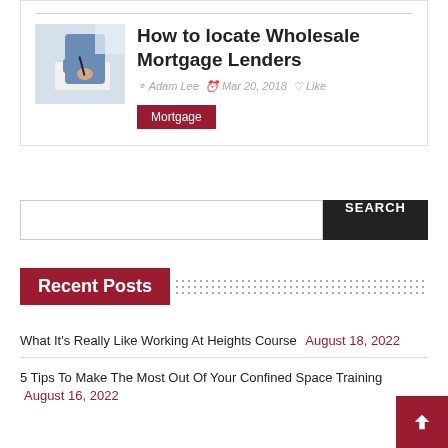[Figure (photo): Photo of person signing documents at a desk, wearing blue shirt, holding a pen]
How to locate Wholesale Mortgage Lenders
Adam Lee · Mar 20, 2018 ♡ Like
Mortgage
SEARCH
Recent Posts
What It's Really Like Working At Heights Course August 18, 2022
5 Tips To Make The Most Out Of Your Confined Space Training August 16, 2022